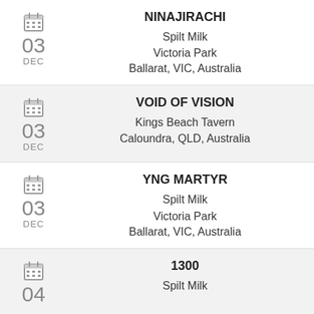NINAJIRACHI
03 DEC
Spilt Milk
Victoria Park
Ballarat, VIC, Australia
VOID OF VISION
03 DEC
Kings Beach Tavern
Caloundra, QLD, Australia
YNG MARTYR
03 DEC
Spilt Milk
Victoria Park
Ballarat, VIC, Australia
1300
04
Spilt Milk